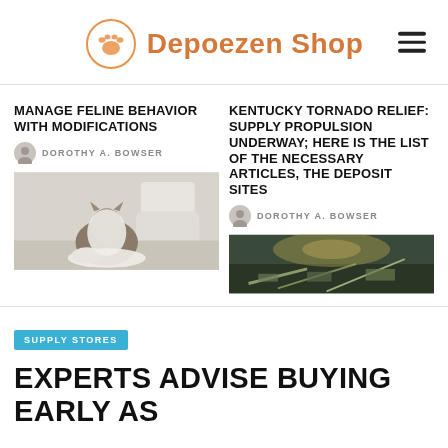Depoezen Shop
MANAGE FELINE BEHAVIOR WITH MODIFICATIONS
DOROTHY A. BOWSER
[Figure (photo): Cat wrapped in toilet paper sitting on bathroom floor near toilet]
KENTUCKY TORNADO RELIEF: SUPPLY PROPULSION UNDERWAY; HERE IS THE LIST OF THE NECESSARY ARTICLES, THE DEPOSIT SITES
DOROTHY A. BOWSER
[Figure (photo): Aerial or ground view of storm damage, dark landscape]
SUPPLY STORES
EXPERTS ADVISE BUYING EARLY AS